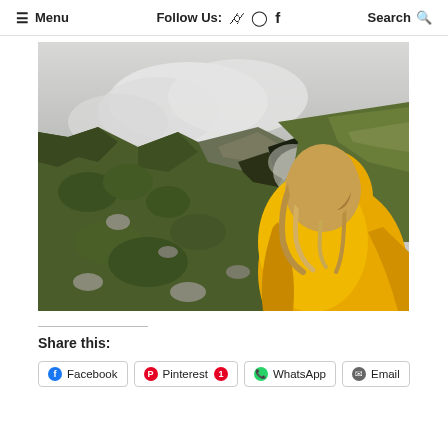≡ Menu   Follow Us: ⊕ ⊙ f   Search 🔍
[Figure (photo): A person with long blonde hair wearing a bright yellow raincoat/hoodie, seen from behind, looking out at a dramatic green mountain landscape with rocky cliffs and low cloud cover/mist in the valley.]
Share this:
Facebook   Pinterest 1   WhatsApp   Email